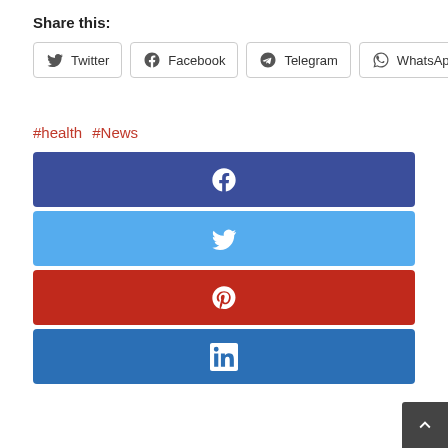Share this:
Twitter
Facebook
Telegram
WhatsApp
#health  #News
[Figure (infographic): Four social share buttons: Facebook (dark blue), Twitter (light blue), Pinterest (red), LinkedIn (medium blue), each as a full-width bar with a white icon centered.]